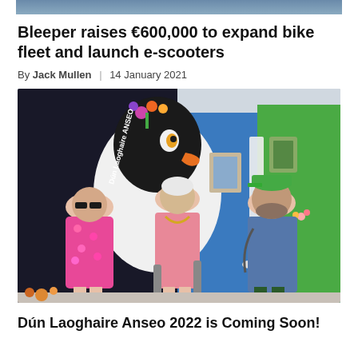[Figure (photo): Top portion of a cropped photo visible at the top of the page]
Bleeper raises €600,000 to expand bike fleet and launch e-scooters
By Jack Mullen | 14 January 2021
[Figure (photo): Three people standing in front of a colourful street mural featuring a puffin, with 'Dún Laoghaire Anseo' text. A woman in a pink floral dress (left), a woman in a pink dress wearing a mayoral chain (centre), and a man in a blue t-shirt and green cap (right).]
Dún Laoghaire Anseo 2022 is Coming Soon!